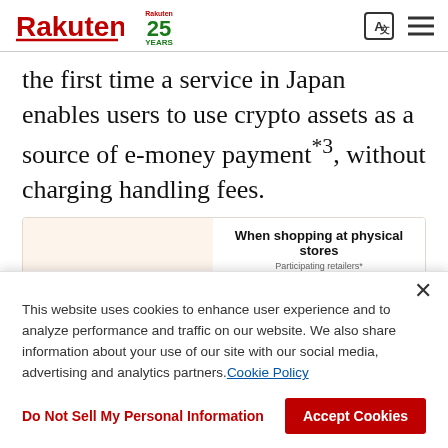Rakuten 25 YEARS
the first time a service in Japan enables users to use crypto assets as a source of e-money payment*3, without charging handling fees.
[Figure (screenshot): Promotional graphic showing 'When shopping at physical stores — Participating retailers*' with retailer logos including 7-Eleven, and other store logos.]
This website uses cookies to enhance user experience and to analyze performance and traffic on our website. We also share information about your use of our site with our social media, advertising and analytics partners. Cookie Policy
Do Not Sell My Personal Information
Accept Cookies